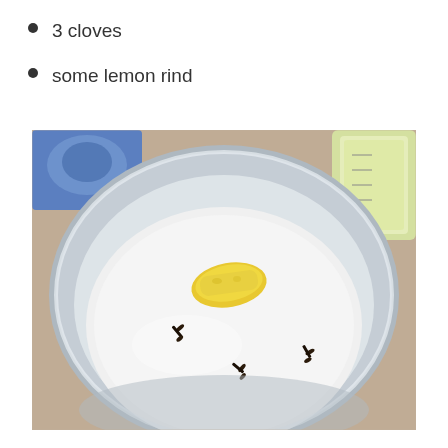3 cloves
some lemon rind
[Figure (photo): A silver metal pot or bowl containing a milky white liquid with three dark cloves floating in it and a piece of yellow lemon rind resting near the center-top. The pot sits on a granite countertop; in the background are a blue box and a glass jar with yellowish liquid.]